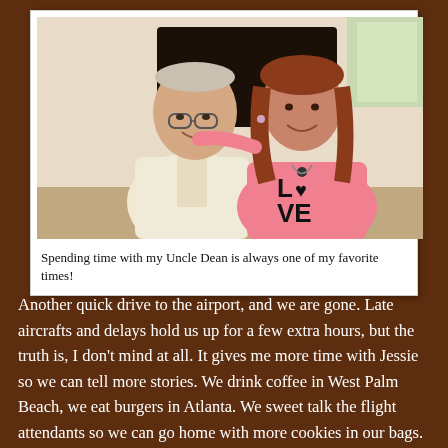[Figure (photo): An elderly man and a woman posing together indoors. The man is wearing a light yellow shirt and glasses. The woman is wearing a pink long-sleeve shirt with 'LOVE' printed on it with a heart shape.]
Spending time with my Uncle Dean is always one of my favorite times!
Another quick drive to the airport, and we are gone. Late aircrafts and delays hold us up for a few extra hours, but the truth is, I don't mind at all. It gives me more time with Jessie so we can tell more stories. We drink coffee in West Palm Beach, we eat burgers in Atlanta. We sweet talk the flight attendants so we can go home with more cookies in our bags. And we talk nonstop. We finally reach home by midnight.